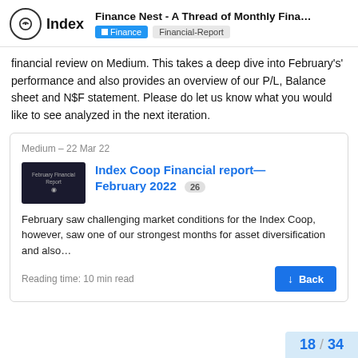Finance Nest - A Thread of Monthly Fina... | Finance | Financial-Report
financial review on Medium. This takes a deep dive into February's' performance and also provides an overview of our P/L, Balance sheet and N$F statement. Please do let us know what you would like to see analyzed in the next iteration.
[Figure (screenshot): Embedded card showing a Medium article link: 'Index Coop Financial report—February 2022' with 26 comments badge, thumbnail image, snippet text, and reading time of 10 min read, with a Back button.]
18 / 34